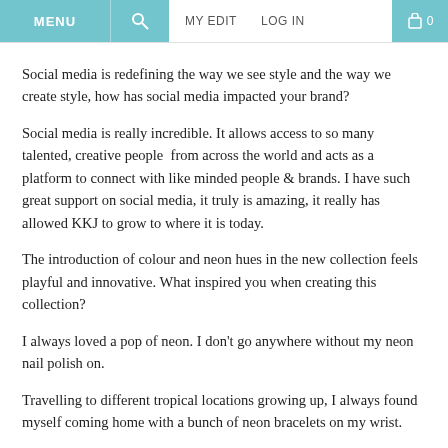MENU | [search] MY EDIT LOG IN [cart] 0
Social media is redefining the way we see style and the way we create style, how has social media impacted your brand?
Social media is really incredible. It allows access to so many talented, creative people from across the world and acts as a platform to connect with like minded people & brands. I have such great support on social media, it truly is amazing, it really has allowed KKJ to grow to where it is today.
The introduction of colour and neon hues in the new collection feels playful and innovative. What inspired you when creating this collection?
I always loved a pop of neon. I don't go anywhere without my neon nail polish on.
Travelling to different tropical locations growing up, I always found myself coming home with a bunch of neon bracelets on my wrist.